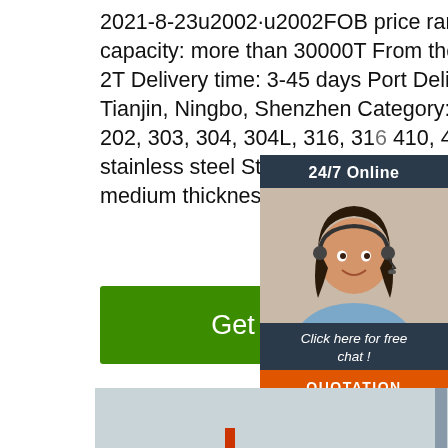2021-8-23u2002·u2002FOB price range: 1000-6000 Supply capacity: more than 30000T From the quantitative: more than 2T Delivery time: 3-45 days Port Delivery: Qingdao, Shanghai, Tianjin, Ningbo, Shenzhen Category: Stainless s... Tags: 201, 202, 303, 304, 304L, 316, 316... 410, 420, 430, Hot rolled stainless steel Stainless steel band, Stainless steel coil steel medium thickness plate ...
[Figure (other): Green 'Get Price' button]
[Figure (other): Customer service chat widget with '24/7 Online' label, photo of woman with headset, 'Click here for free chat!' text, and orange QUOTATION button]
[Figure (photo): Industrial factory floor showing stainless steel plates or sheets in a manufacturing facility]